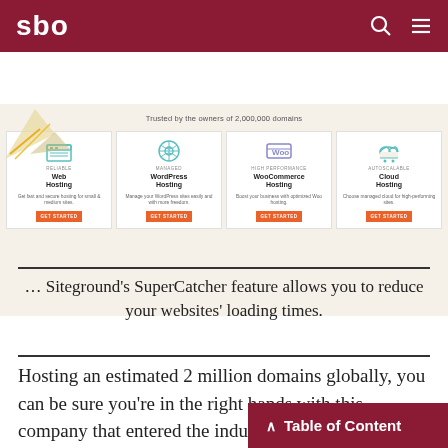sbo
[Figure (screenshot): SiteGround website screenshot showing 4 hosting product cards: Reliable Web Hosting, Managed WordPress Hosting, High-Performance WooCommerce Hosting, AutoScalable Cloud Hosting. Text says 'Trusted by the owners of 2,000,000 domains'. Each card has a GET STARTED button.]
… Siteground's SuperCatcher feature allows you to reduce your websites' loading times.
Hosting an estimated 2 million domains globally, you can be sure you're in the right hands with this company that entered the industry in 2004. Siteground's
^ Table of Content